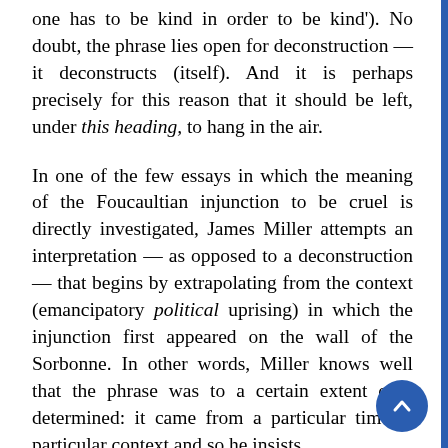one has to be kind in order to be kind'). No doubt, the phrase lies open for deconstruction — it deconstructs (itself). And it is perhaps precisely for this reason that it should be left, under this heading, to hang in the air.

In one of the few essays in which the meaning of the Foucaultian injunction to be cruel is directly investigated, James Miller attempts an interpretation — as opposed to a deconstruction — that begins by extrapolating from the context (emancipatory political uprising) in which the injunction first appeared on the wall of the Sorbonne. In other words, Miller knows well that the phrase was to a certain extent over determined: it came from a particular time, a particular context and so he insists